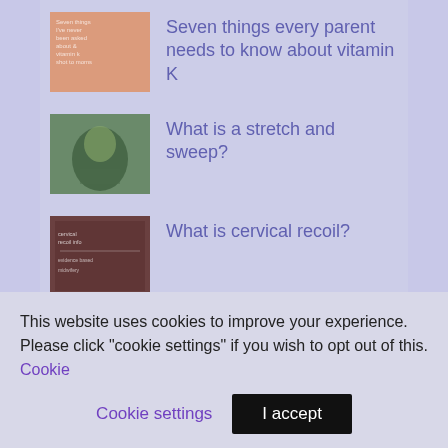Seven things every parent needs to know about vitamin K
What is a stretch and sweep?
What is cervical recoil?
9 things you might not know about Anti-D...
Induction for big baby: what's the evidence?
Five questions to ask if you're offered
This website uses cookies to improve your experience. Please click "cookie settings" if you wish to opt out of this. Cookie settings   I accept